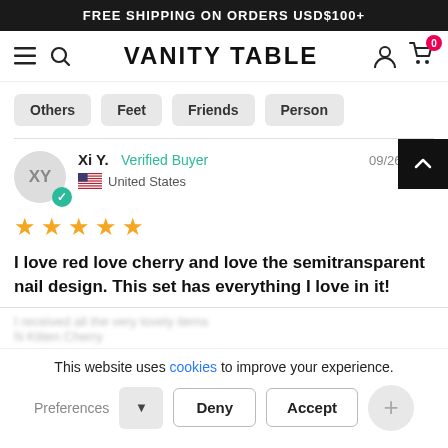FREE SHIPPING ON ORDERS USD$100+
VANITY TABLE
Others
Feet
Friends
Person
Xi Y.  Verified Buyer  09/26/2021  United States
[Figure (other): 5 yellow stars rating]
I love red love cherry and love the semitransparent nail design. This set has everything I love in it!
This website uses cookies to improve your experience.
N Kitten Cherry
Preferences  Deny  Accept